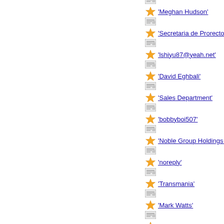'Meghan Hudson'
'Secretaria de Prorectoria'
'lshiyu87@yeah.net'
'David Eghbali'
'Sales Department'
'bobbyboi507'
'Noble Group Holdings Limi'
'noreply'
'Transmania'
'Mark Watts'
'Robert B Parsons'
'IT Dept'
'Valeriahenry008'